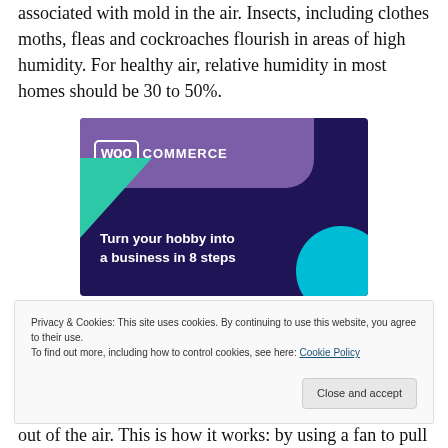associated with mold in the air. Insects, including clothes moths, fleas and cockroaches flourish in areas of high humidity. For healthy air, relative humidity in most homes should be 30 to 50%.
[Figure (illustration): WooCommerce advertisement banner with dark purple background, teal triangle, cyan circle, WooCommerce logo, and text 'Turn your hobby into a business in 8 steps']
Privacy & Cookies: This site uses cookies. By continuing to use this website, you agree to their use.
To find out more, including how to control cookies, see here: Cookie Policy
out of the air. This is how it works: by using a fan to pull